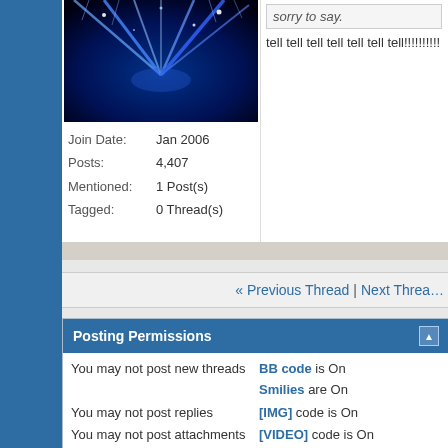[Figure (photo): Blue light rays/lasers on dark background — user avatar image]
Join Date: Jan 2006
Posts: 4,407
Mentioned: 1 Post(s)
Tagged: 0 Thread(s)
sorry to say.
tell tell tell tell tell tell tell!!!!!!!!!!
« Previous Thread | Next Thread »
Posting Permissions
You may not post new threads
BB code is On
You may not post replies
Smilies are On
You may not post attachments
[IMG] code is On
You may not edit your posts
[VIDEO] code is On
HTML code is Off